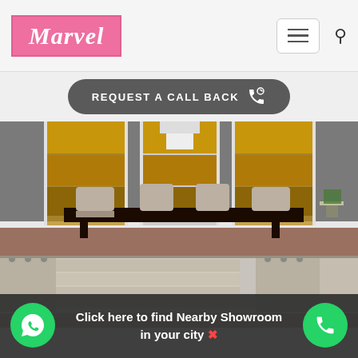[Figure (logo): Marvel logo in pink/magenta box with white italic serif text]
[Figure (screenshot): Hamburger menu icon button and search icon in header]
[Figure (other): Dark rounded button with text REQUEST A CALL BACK and phone icon]
[Figure (photo): Dining room with brown roman blinds on three windows, dark table with upholstered chairs, chandelier]
[Figure (photo): Room with beige curtains and Roman blinds on multiple windows]
Click here to find Nearby Showroom in your city ✖